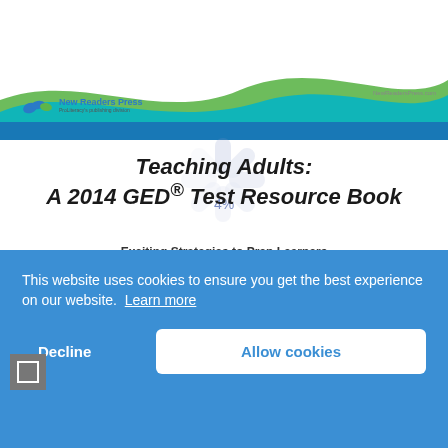[Figure (screenshot): New Readers Press book cover with green and teal wave banner at top, logo at upper left, website URL at upper right, book title 'Teaching Adults: A 2014 GED® Test Resource Book' centered, subtitle 'Exciting Strategies to Prep Learners for the New Test', with a loading spinner overlay and 4% loading indicator]
This website uses cookies to ensure you get the best experience on our website.  Learn more
Decline
Allow cookies